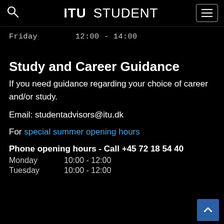ITU STUDENT
Friday   12:00 - 14:00
Study and Career Guidance
If you need guidance regarding your choice of career and/or study.
Email: studentadvisors@itu.dk
For special summer opening hours
Phone opening hours - Call +45 72 18 54 40
Monday   10:00 - 12:00
Tuesday   10:00 - 12:00